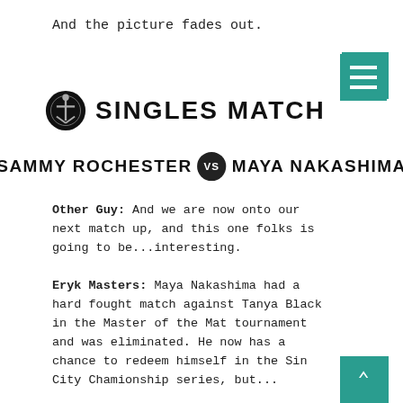And the picture fades out.
[Figure (logo): Singles Match logo with decorative icon on left and bold uppercase text 'SINGLES MATCH']
[Figure (infographic): Match banner: SAMMY ROCHESTER vs MAYA NAKASHIMA in bold black uppercase letters with a circular VS badge in center]
Other Guy: And we are now onto our next match up, and this one folks is going to be...interesting.
Eryk Masters: Maya Nakashima had a hard fought match against Tanya Black in the Master of the Mat tournament and was eliminated. He now has a chance to redeem himself in the Sin City Chamionship series, but...
Other Guy: But it's against Sammy Rochester...
The lights in the Epicenter die down as the start of "HORIZON" by D'espairsRay fills the arena. Spotlights search through the seats as the fans rise up from their